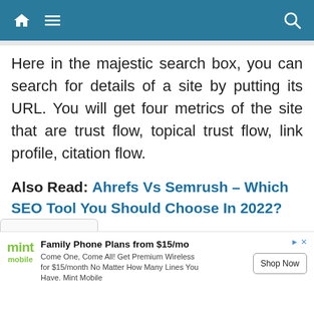Navigation bar with home icon, menu icon, and search icon
Here in the majestic search box, you can search for details of a site by putting its URL. You will get four metrics of the site that are trust flow, topical trust flow, link profile, citation flow.
Also Read: Ahrefs Vs Semrush – Which SEO Tool You Should Choose In 2022?
Trust flow displays the quality of backlinks, has the topical trust flow shows the
[Figure (other): Advertisement banner for Mint Mobile: Family Phone Plans from $15/mo. Come One, Come All! Get Premium Wireless for $15/month No Matter How Many Lines You Have. Mint Mobile. Shop Now button.]